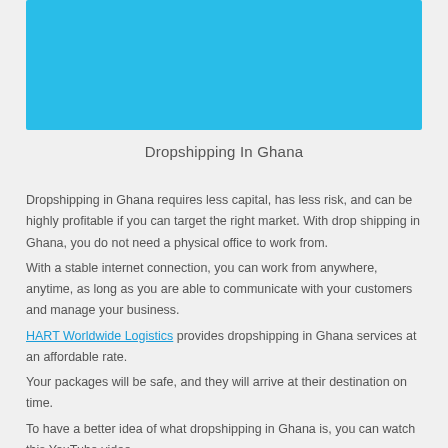[Figure (illustration): Solid light blue/cyan colored banner rectangle at the top of the page]
Dropshipping In Ghana
Dropshipping in Ghana requires less capital, has less risk, and can be highly profitable if you can target the right market. With drop shipping in Ghana, you do not need a physical office to work from.
With a stable internet connection, you can work from anywhere, anytime, as long as you are able to communicate with your customers and manage your business.
HART Worldwide Logistics provides dropshipping in Ghana services at an affordable rate.
Your packages will be safe, and they will arrive at their destination on time.
To have a better idea of what dropshipping in Ghana is, you can watch this YouTube video-